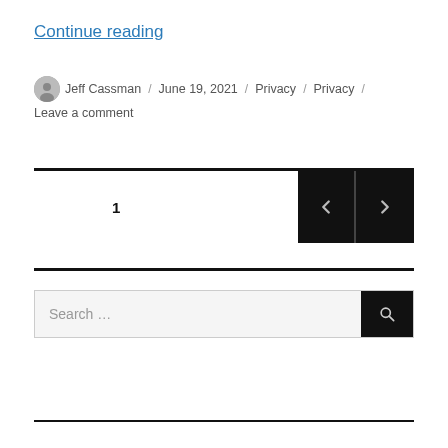Continue reading
Jeff Cassman / June 19, 2021 / Privacy / Privacy / Leave a comment
[Figure (other): Pagination navigation bar with page number 1 and previous/next arrow buttons on dark background]
[Figure (other): Search input field with search icon button]